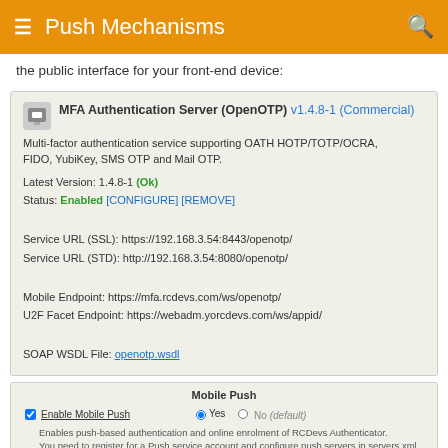Push Mechanisms
the public interface for your front-end device:
[Figure (screenshot): Plugin info box for MFA Authentication Server (OpenOTP) v1.4.8-1 (Commercial). Shows description, latest version, status, service URLs, mobile endpoint, U2F facet endpoint, and SOAP WSDL file.]
| Field | Value |
| --- | --- |
| MFA Authentication Server (OpenOTP) | v1.4.8-1 (Commercial) |
| Description | Multi-factor authentication service supporting OATH HOTP/TOTP/OCRA, FIDO, YubiKey, SMS OTP and Mail OTP. |
| Latest Version | 1.4.8-1 (Ok) |
| Status | Enabled [CONFIGURE] [REMOVE] |
| Service URL (SSL) | https://192.168.3.54:8443/openotp/ |
| Service URL (STD) | http://192.168.3.54:8080/openotp/ |
| Mobile Endpoint | https://mfa.rcdevs.com/ws/openotp/ |
| U2F Facet Endpoint | https://webadm.yorcdevs.com/ws/appid/ |
| SOAP WSDL File | openotp.wsdl |
Mobile Push
Enable Mobile Push — Yes (selected) / No (default)
Enables push-based authentication and online enrolment of RCDevs Authenticator. You need to register for a Push service account and configure push servers in servers.xml. Note: You don't need a Push service account if you have a RCDevs' Enterprise license.
Mobile EndPoint URL — https://mfa.rcdevs.com/ws/openotp/